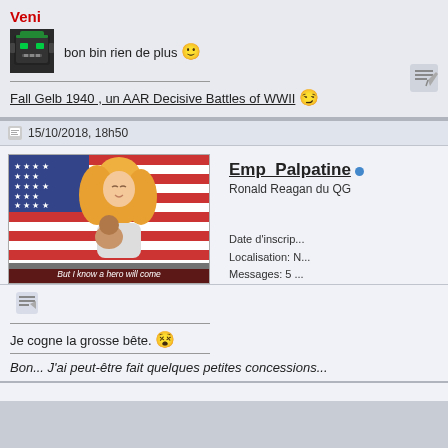Veni
bon bin rien de plus 🙁
Fall Gelb 1940 , un AAR Decisive Battles of WWII 😏
15/10/2018, 18h50
[Figure (illustration): Anime-style illustration showing a blonde figure hugging someone in front of an American flag, with caption text 'But I know a hero will come']
Emp_Palpatine • Ronald Reagan du QG
Date d'inscrip...
Localisation: N...
Messages: 5 ...
Je cogne la grosse bête. 😵
Bon... J'ai peut-être fait quelques petites concessions...